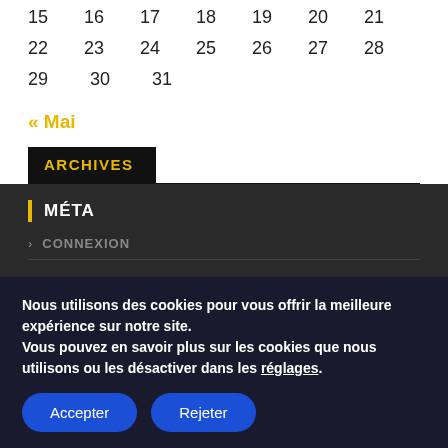15 16 17 18 19 20 21
22 23 24 25 26 27 28
29 30 31
« Mai
ARCHIVES
Sélectionner un mois
MÉTA
CONNEXION
Nous utilisons des cookies pour vous offrir la meilleure expérience sur notre site. Vous pouvez en savoir plus sur les cookies que nous utilisons ou les désactiver dans les réglages.
Accepter
Rejeter